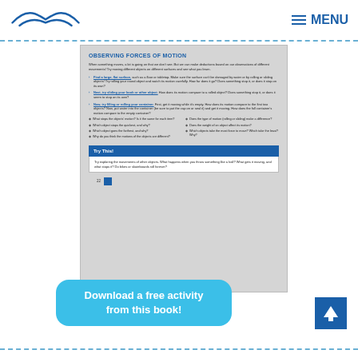MENU
[Figure (screenshot): Book page preview showing 'OBSERVING FORCES OF MOTION' activity with steps and bullet questions, plus a Try This! box. Page number 22 at bottom.]
Download a free activity from this book!